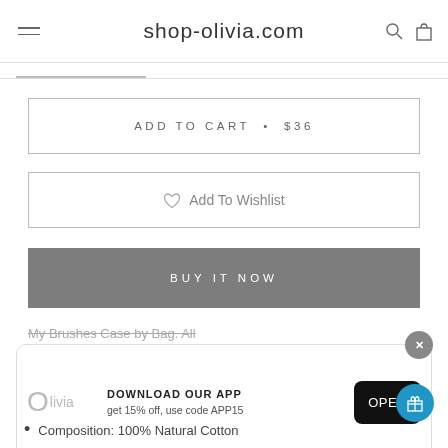shop-olivia.com
ADD TO CART  •  $36
Add To Wishlist
BUY IT NOW
My Brushes Case by Bag. All
[Figure (screenshot): App download banner with Olivia logo, 'DOWNLOAD OUR APP get 15% off, use code APP15' and an OPEN button]
Composition: 100% Natural Cotton